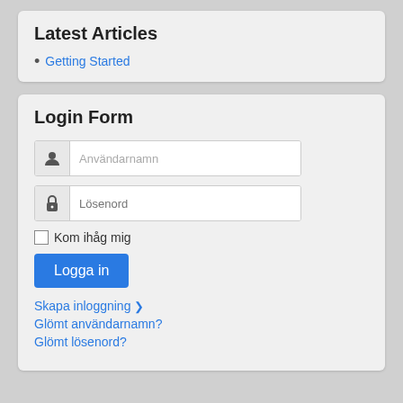Latest Articles
Getting Started
Login Form
Användarnamn
Lösenord
Kom ihåg mig
Logga in
Skapa inloggning ›
Glömt användarnamn?
Glömt lösenord?